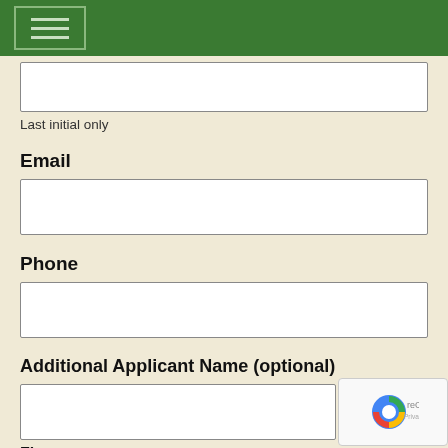Navigation menu
Last initial only
Email
Phone
Additional Applicant Name (optional)
First